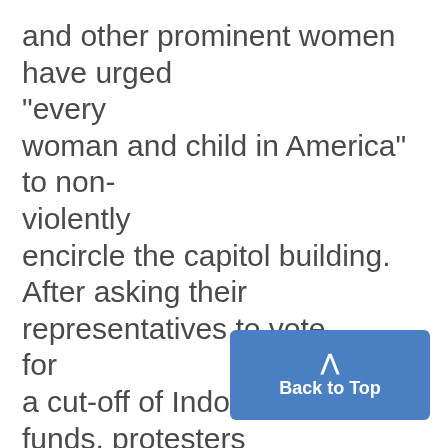and other prominent women have urged "every woman and child in America" to non-violently encircle the capitol building. After asking their representatives to vote for a cut-off of Indochina war funds, protesters will re-group to announce how each Congressman responded. Speakers at the national march Joan Baez, Marierie Tabankin, president of
[Figure (other): Blue 'Back to Top' button with upward chevron arrow, positioned in bottom-right corner of the page]